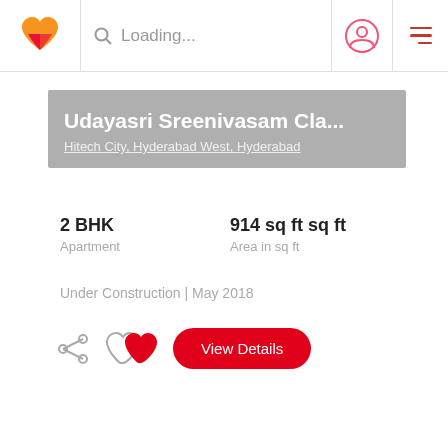Loading...
Udayasri Sreenivasam Cla...
Hitech City, Hyderabad West, Hyderabad
2 BHK
Apartment
914 sq ft sq ft
Area in sq ft
Under Construction | May 2018
View Details